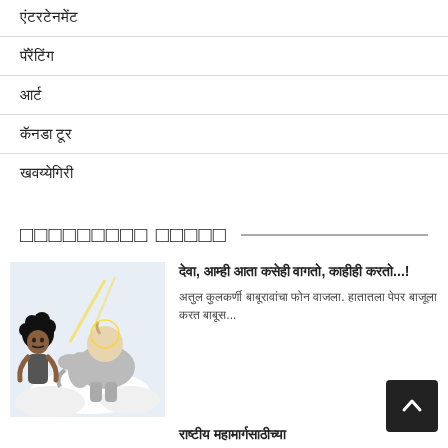एंटरटेनमेंट
पॅरेंटिंग
आर्ट
कॅनडा टूर
खवय्येगिरी
□□□□□□□□□ □□□□□
[Figure (illustration): Hand-drawn illustration of a man with curly hair standing next to Ganesha riding an elephant on clouds]
देवा, आम्ही आता कसेही वागतो, काहीही करतो...!
अतुल कुलकर्णी बाबूरावांचा फोन वाजला. हातातला पेपर बाजूला करत बाबूस...
राष्टीय महामार्गसाठीच्या